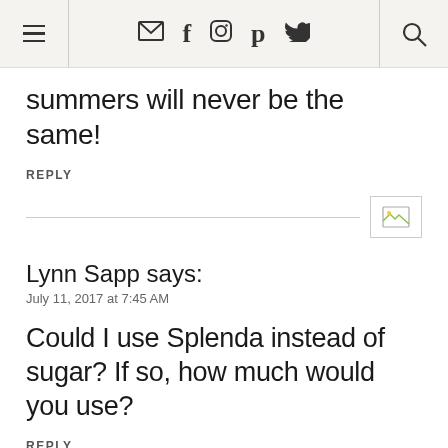Navigation bar with menu, email, facebook, instagram, pinterest, twitter icons and search
summers will never be the same!
REPLY
Lynn Sapp says:
July 11, 2017 at 7:45 AM
Could I use Splenda instead of sugar? If so, how much would you use?
REPLY
Sheena Strain says: